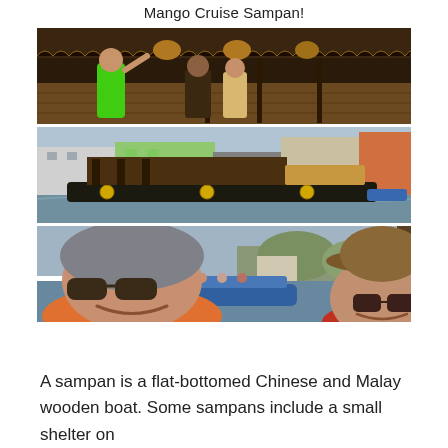Mango Cruise Sampan!
[Figure (photo): Three stacked photos: top photo shows people on a covered wooden boat deck, one person waving in a green shirt; middle photo shows a large flat-bottomed boat on a river with colorful buildings in background; bottom photo shows a couple selfie with a blue boat and river scene behind them.]
A sampan is a flat-bottomed Chinese and Malay wooden boat. Some sampans include a small shelter on